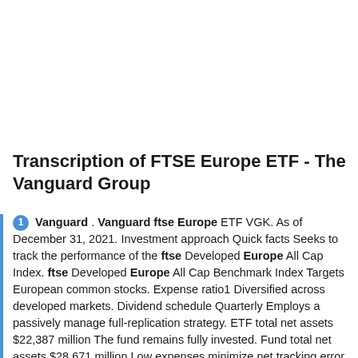Transcription of FTSE Europe ETF - The Vanguard Group
Vanguard . Vanguard ftse Europe ETF VGK. As of December 31, 2021. Investment approach Quick facts Seeks to track the performance of the ftse Developed Europe All Cap Index. ftse Developed Europe All Cap Benchmark Index Targets European common stocks. Expense ratio1 Diversified across developed markets. Dividend schedule Quarterly Employs a passively managed full-replication strategy. ETF total net assets $22,387 million The fund remains fully invested. Fund total net assets $28,671 million Low expenses minimize net tracking error. Inception date March 4, 2005. About the benchmark Trading information The ftse Developed...